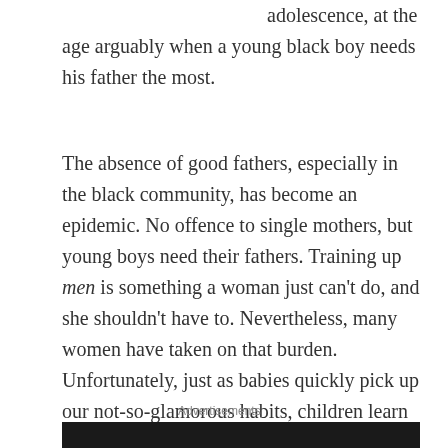adolescence, at the age arguably when a young black boy needs his father the most.
The absence of good fathers, especially in the black community, has become an epidemic. No offence to single mothers, but young boys need their fathers. Training up men is something a woman just can't do, and she shouldn't have to. Nevertheless, many women have taken on that burden. Unfortunately, just as babies quickly pick up our not-so-glamorous habits, children learn from example, and with no father in the home, boys will learn how to be men from what that see in the media and on the streets.
Advertisements